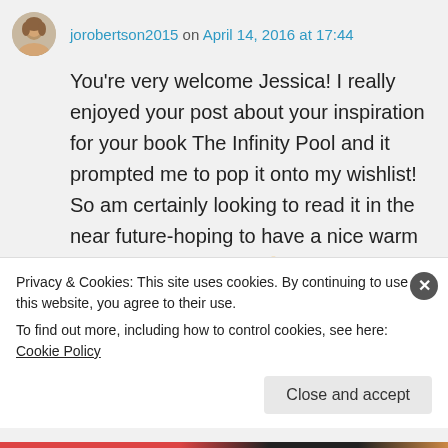jorobertson2015 on April 14, 2016 at 17:44
You're very welcome Jessica! I really enjoyed your post about your inspiration for your book The Infinity Pool and it prompted me to pop it onto my wishlist! So am certainly looking to read it in the near future-hoping to have a nice warm holiday to read it on!! 🙂
★ Liked by 2 people
Privacy & Cookies: This site uses cookies. By continuing to use this website, you agree to their use.
To find out more, including how to control cookies, see here: Cookie Policy
Close and accept